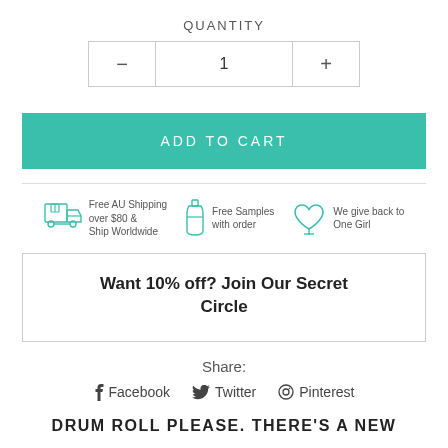QUANTITY
[Figure (infographic): Quantity selector with minus button, value '1' in center box, and plus button]
ADD TO CART
[Figure (infographic): Three teal icons with text: truck 'Free AU Shipping over $80 & Ship Worldwide', bottle 'Free Samples with order', heart 'We give back to One Girl']
Want 10% off? Join Our Secret Circle
Share:
Facebook  Twitter  Pinterest
DRUM ROLL PLEASE. THERE'S A NEW